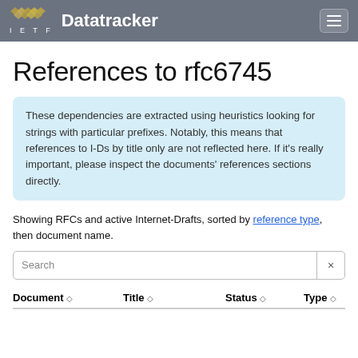IETF Datatracker
References to rfc6745
These dependencies are extracted using heuristics looking for strings with particular prefixes. Notably, this means that references to I-Ds by title only are not reflected here. If it's really important, please inspect the documents' references sections directly.
Showing RFCs and active Internet-Drafts, sorted by reference type, then document name.
| Document | Title | Status | Type |
| --- | --- | --- | --- |